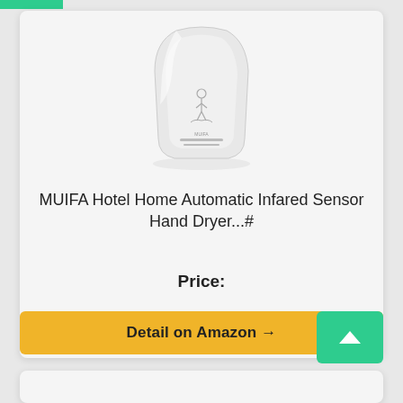[Figure (photo): White electric hand dryer product photo on white background — MUIFA brand automatic infrared sensor hand dryer]
MUIFA Hotel Home Automatic Infared Sensor Hand Dryer...#
Price:
Detail on Amazon →